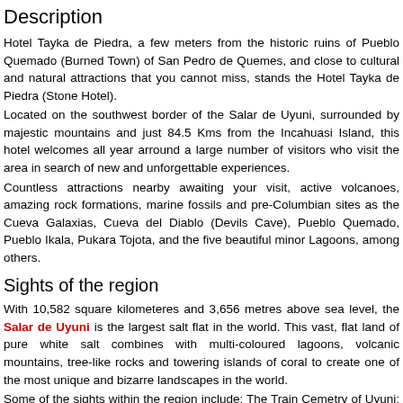Description
Hotel Tayka de Piedra, a few meters from the historic ruins of Pueblo Quemado (Burned Town) of San Pedro de Quemes, and close to cultural and natural attractions that you cannot miss, stands the Hotel Tayka de Piedra (Stone Hotel).
Located on the southwest border of the Salar de Uyuni, surrounded by majestic mountains and just 84.5 Kms from the Incahuasi Island, this hotel welcomes all year arround a large number of visitors who visit the area in search of new and unforgettable experiences.
Countless attractions nearby awaiting your visit, active volcanoes, amazing rock formations, marine fossils and pre-Columbian sites as the Cueva Galaxias, Cueva del Diablo (Devils Cave), Pueblo Quemado, Pueblo Ikala, Pukara Tojota, and the five beautiful minor Lagoons, among others.
Sights of the region
With 10,582 square kilometeres and 3,656 metres above sea level, the Salar de Uyuni is the largest salt flat in the world. This vast, flat land of pure white salt combines with multi-coloured lagoons, volcanic mountains, tree-like rocks and towering islands of coral to create one of the most unique and bizarre landscapes in the world.
Some of the sights within the region include: The Train Cemetry of Uyuni; Incahuasi Island in the Salar; Ojos de Salar; and the Eduardo Avaroa Nature